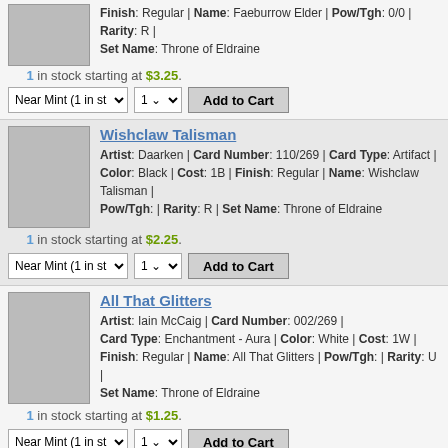Finish: Regular | Name: Faeburrow Elder | Pow/Tgh: 0/0 | Rarity: R | Set Name: Throne of Eldraine
1 in stock starting at $3.25.
Near Mint (1 in st) | 1 | Add to Cart
Wishclaw Talisman
Artist: Daarken | Card Number: 110/269 | Card Type: Artifact | Color: Black | Cost: 1B | Finish: Regular | Name: Wishclaw Talisman | Pow/Tgh: | Rarity: R | Set Name: Throne of Eldraine
1 in stock starting at $2.25.
Near Mint (1 in st) | 1 | Add to Cart
All That Glitters
Artist: Iain McCaig | Card Number: 002/269 | Card Type: Enchantment - Aura | Color: White | Cost: 1W | Finish: Regular | Name: All That Glitters | Pow/Tgh: | Rarity: U | Set Name: Throne of Eldraine
1 in stock starting at $1.25.
Near Mint (1 in st) | 1 | Add to Cart
All That Glitters - Foil
Artist: Iain McCaig | Card Number: 002/269 | Card Type: Enchantment - Aura | Color: White | Cost: 1W | Finish: Foil | Name: All That Glitters | Pow/Tgh: | Rarity: U | Set Name: Throne of Eldraine
No conditions in stock.